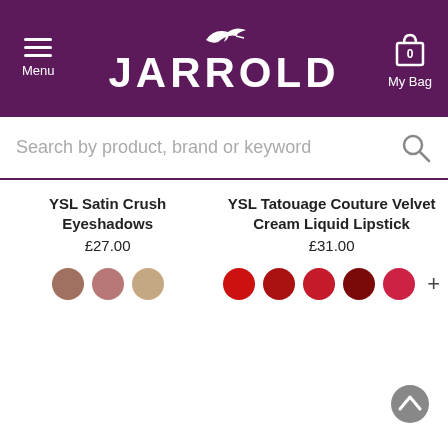[Figure (screenshot): Jarrold department store website header with purple background, hamburger menu icon on left, Jarrold logo in center with bird icon, shopping bag icon with 0 items on right]
[Figure (screenshot): Search bar with placeholder text 'Search by product, brand or keyword' and magnifying glass icon]
YSL Satin Crush Eyeshadows
£27.00
YSL Tatouage Couture Velvet Cream Liquid Lipstick
£31.00